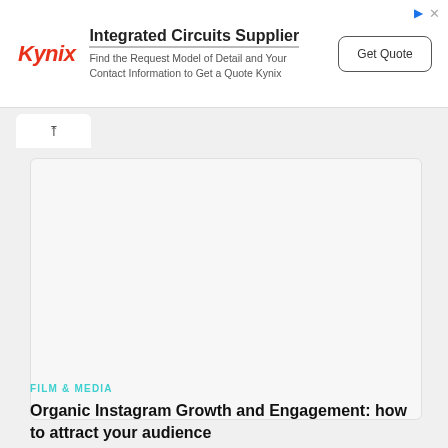[Figure (other): Kynix advertisement banner: Integrated Circuits Supplier. Find the Request Model of Detail and Your Contact Information to Get a Quote Kynix. Get Quote button.]
[Figure (other): Gray content card area with a browser tab shown at top-left (chevron up icon), representing an embedded content placeholder or image area.]
FILM & MEDIA
Organic Instagram Growth and Engagement: how to attract your audience